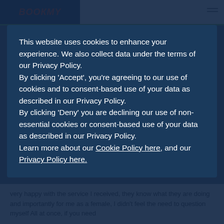[Figure (screenshot): BookMy website header with logo and hamburger menu, green border at top]
This website uses cookies to enhance your experience. We also collect data under the terms of our Privacy Policy.
By clicking 'Accept', you're agreeing to our use of cookies and to consent-based use of your data as described in our Privacy Policy.
By clicking 'Deny' you are declining our use of non-essential cookies or consent-based use of your data as described in our Privacy Policy.
Learn more about our Cookie Policy here, and our Privacy Policy here.
very happy with the service I received, they know what they are doing and importantly for me as a female, I didn't feel the need to question myself All at once, if you need